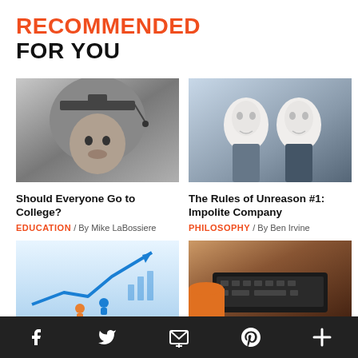RECOMMENDED FOR YOU
[Figure (photo): Black and white photo of a child wearing a graduation cap]
Should Everyone Go to College?
EDUCATION / By Mike LaBossiere
[Figure (photo): Photo of people wearing white masks in a business setting]
The Rules of Unreason #1: Impolite Company
PHILOSOPHY / By Ben Irvine
[Figure (photo): Illustration of business growth with upward arrow and figures]
[Figure (photo): Photo of hands typing on laptop with headphones visible]
Social media icons: Facebook, Twitter, Email, Pinterest, Plus